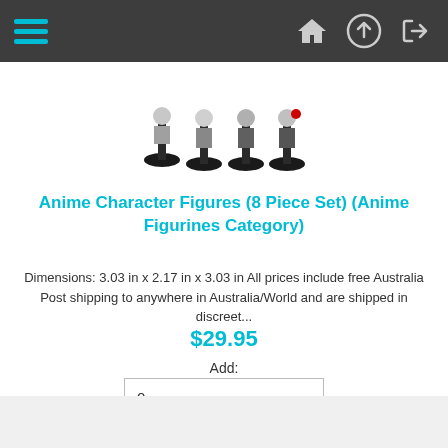Navigation bar with hamburger menu and icons
[Figure (photo): Small anime character figurines on black bases, approximately 4 figures visible]
Anime Character Figures (8 Piece Set) (Anime Figurines Category)
Dimensions: 3.03 in x 2.17 in x 3.03 in All prices include free Australia Post shipping to anywhere in Australia/World and are shipped in discreet...
$29.95
Add:
0
[Figure (illustration): Free Shipping badge with delivery truck icon in teal/cyan color]